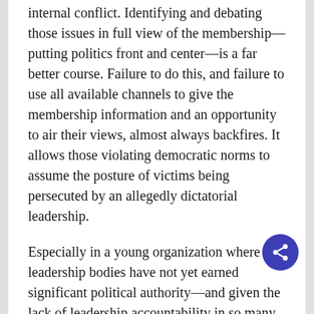internal conflict. Identifying and debating those issues in full view of the membership—putting politics front and center—is a far better course. Failure to do this, and failure to use all available channels to give the membership information and an opportunity to air their views, almost always backfires. It allows those violating democratic norms to assume the posture of victims being persecuted by an allegedly dictatorial leadership.
Especially in a young organization where leadership bodies have not yet earned significant political authority—and given the lack of leadership accountability in so many past socialist groups—this stance generally garners sympathy. By their nature, crackdowns on abusive behavior or rule violations have a large proportion of messy, “they said, they said” charges and sometimes facts and allegations are at least partly confidential. These problems are exacerbated in DSA because the NPC, rather than some independent, non-leadership body, is designated as the arbiter of grievances and other kinds of disputes.